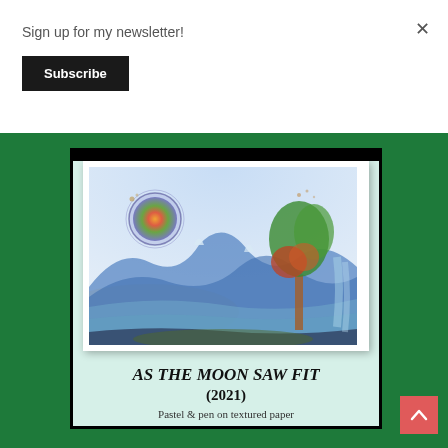Sign up for my newsletter!
×
Subscribe
[Figure (illustration): Pastel and pen artwork showing a landscape with colorful moon (orange, yellow, green swirls) on the left, blue mountains in the middle, and a tree with green and red foliage on the right, on a light blue-white sky background.]
AS THE MOON SAW FIT
(2021)
Pastel & pen on textured paper